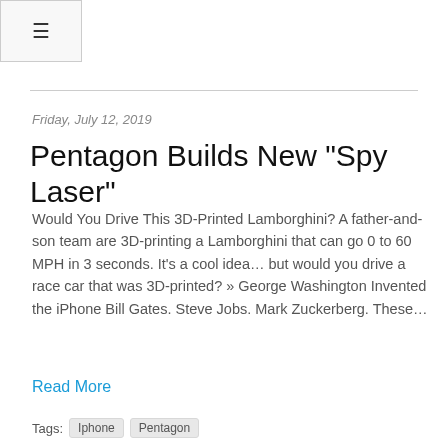≡
Friday, July 12, 2019
Pentagon Builds New "Spy Laser"
Would You Drive This 3D-Printed Lamborghini? A father-and-son team are 3D-printing a Lamborghini that can go 0 to 60 MPH in 3 seconds. It's a cool idea… but would you drive a race car that was 3D-printed? » George Washington Invented the iPhone Bill Gates. Steve Jobs. Mark Zuckerberg. These…
Read More
Tags: Iphone Pentagon